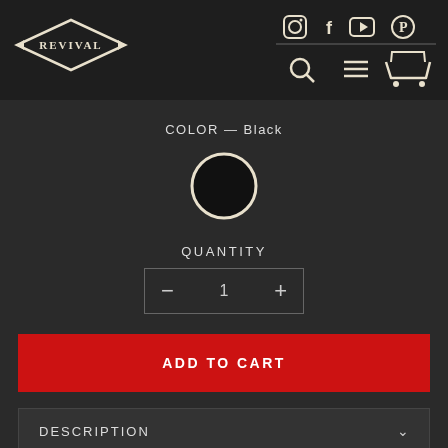[Figure (logo): Revival brand logo — diamond shape with serif lettering and arrows on left and right sides]
[Figure (infographic): Social media icons: Instagram, Facebook, YouTube, Pinterest in top right header; Search, Menu (hamburger), Cart icons below]
COLOR — Black
[Figure (other): Black circular color swatch with white ring border indicating selected color]
QUANTITY
[Figure (other): Quantity control with minus button, value 1, plus button inside a bordered box]
ADD TO CART
DESCRIPTION